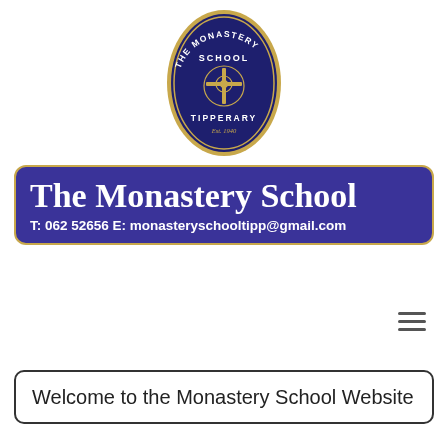[Figure (logo): The Monastery School Tipperary oval crest logo — dark navy blue oval with gold border, text 'THE MONASTERY SCHOOL' around top, 'TIPPERARY' and 'Est. 1940' at bottom, decorative cross emblem in center]
The Monastery School
T: 062 52656 E: monasteryschooltipp@gmail.com
[Figure (other): Hamburger menu icon (three horizontal lines)]
Welcome to the Monastery School Website